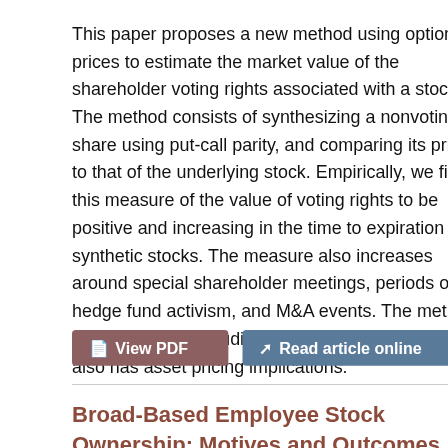This paper proposes a new method using option prices to estimate the market value of the shareholder voting rights associated with a stock. The method consists of synthesizing a nonvoting share using put-call parity, and comparing its price to that of the underlying stock. Empirically, we find this measure of the value of voting rights to be positive and increasing in the time to expiration of synthetic stocks. The measure also increases around special shareholder meetings, periods of hedge fund activism, and M&A events. The method is likely useful in studies of corporate control and also has asset pricing implications.
[Figure (other): Two buttons: 'View PDF' (brownish-red background) and 'Read article online' (blue-grey background)]
Broad-Based Employee Stock Ownership: Motives and Outcomes